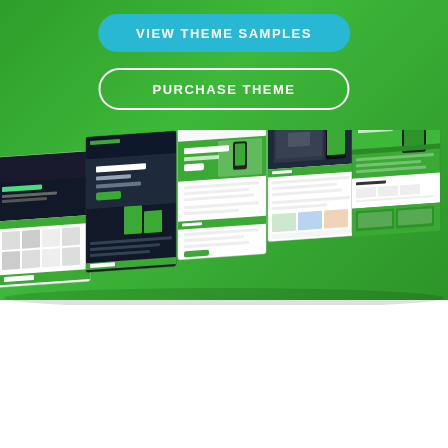[Figure (illustration): Green gradient background with call-to-action buttons and website theme mockup screenshots displayed in perspective]
VIEW THEME SAMPLES
PURCHASE THEME
[Figure (screenshot): Multiple website theme mockup screenshots shown in perspective/3D tilt view, featuring green and dark color schemes with various page layouts]